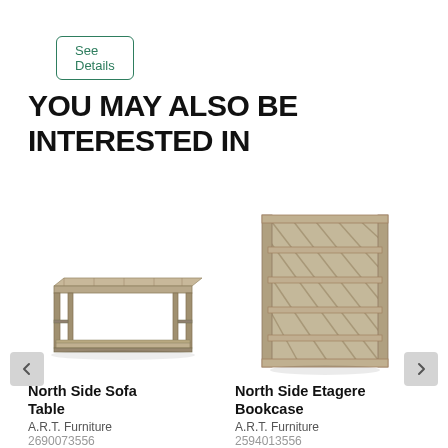See Details
YOU MAY ALSO BE INTERESTED IN
[Figure (photo): North Side Sofa Table product photo - a rectangular console sofa table with a lower shelf, light wood/grey finish with metal frame]
North Side Sofa Table
A.R.T. Furniture
2690073556
[Figure (photo): North Side Etagere Bookcase product photo - a tall open bookcase with multiple shelves and diagonal slat backing, light wood/grey finish]
North Side Etagere Bookcase
A.R.T. Furniture
2694013556